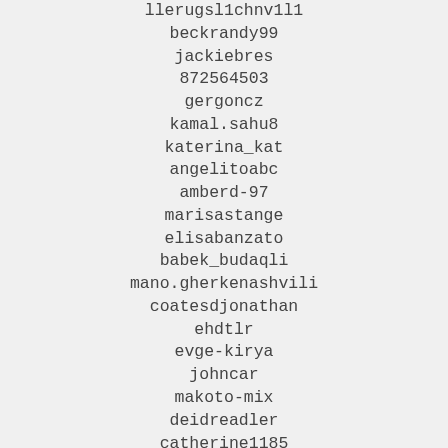llerugsl1chnv1l1
beckrandy99
jackiebres
872564503
gergoncz
kamal.sahu8
katerina_kat
angelitoabc
amberd-97
marisastange
elisabanzato
babek_budaqli
mano.gherkenashvili
coatesdjonathan
ehdtlr
evge-kirya
johncar
makoto-mix
deidreadler
catherine1185
michrichardson
afia.tamour
arom.n206
alvarocaravita
kazuki9910